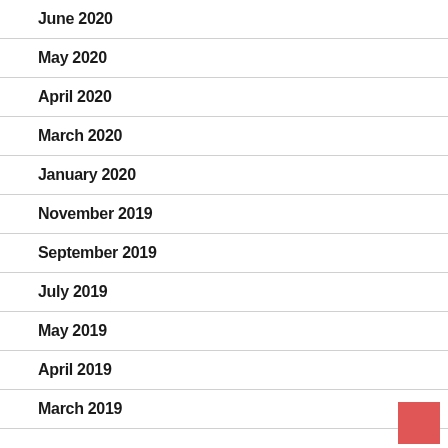June 2020
May 2020
April 2020
March 2020
January 2020
November 2019
September 2019
July 2019
May 2019
April 2019
March 2019